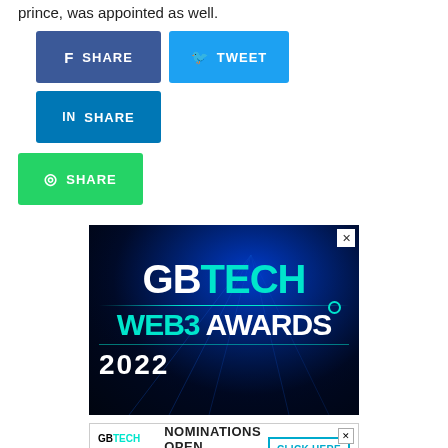prince, was appointed as well.
[Figure (infographic): Social share buttons: Facebook SHARE (blue), Twitter TWEET (light blue), LinkedIn SHARE (dark blue), WhatsApp SHARE (green)]
[Figure (infographic): GB TECH WEB3 AWARDS 2022 advertisement banner with dark blue glowing background. Close button (X) in top right corner.]
[Figure (infographic): Bottom banner ad: GB TECH WEB3 AWARDS 2022 logo on left, NOMINATIONS OPEN text in center, Nominations Close on September 2nd subtitle, CLICK HERE button on right. Close X button in top right.]